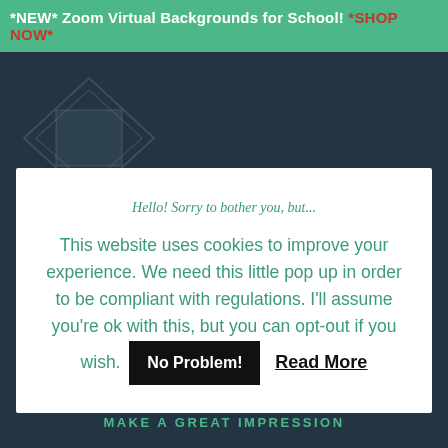*NEW* Zoom Virtual Backgrounds for School! *SHOP NOW*
[Figure (screenshot): Background webpage with dark teal/navy color and decorative diamond/chevron logo outline on the left side, and partial red button visible]
Hello! Sorry to bother you, but...
This website uses cookies to improve your experience. We need this little pop up in order to be compliant with regulations. I'll assume you're ok with this, but you can opt-out if you wish. No Problem! Read More
MAKE A GREAT IMPRESSION